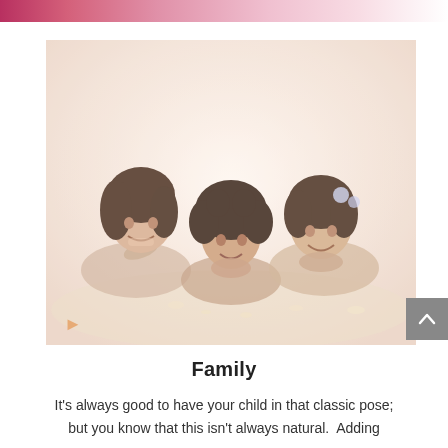[Figure (photo): Three young girls lying on the floor smiling, cheeks resting on their hands, in a classic pose. The photo has a warm, faded, high-key look with soft pink tones.]
Family
It's always good to have your child in that classic pose; but you know that this isn't always natural.  Adding